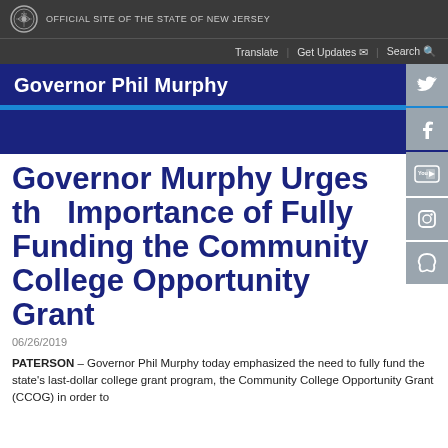OFFICIAL SITE OF THE STATE OF NEW JERSEY
Translate | Get Updates | Search
Governor Phil Murphy
Governor Murphy Urges the Importance of Fully Funding the Community College Opportunity Grant
06/26/2019
PATERSON – Governor Phil Murphy today emphasized the need to fully fund the state's last-dollar college grant program, the Community College Opportunity Grant (CCOG) in order to